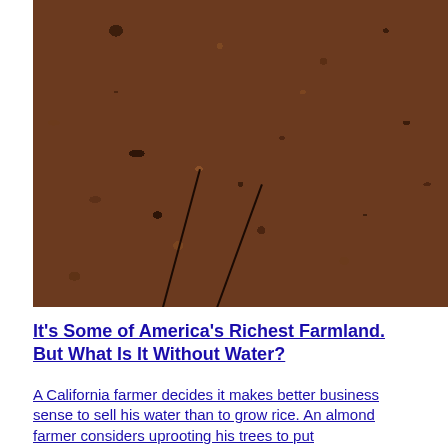[Figure (photo): Close-up photograph of dry, dark reddish-brown soil with clumps and small stones. There are faint dark lines or cracks running diagonally across the surface. A few tiny green seedlings are visible.]
It's Some of America's Richest Farmland. But What Is It Without Water?
A California farmer decides it makes better business sense to sell his water than to grow rice. An almond farmer considers uprooting his trees to put